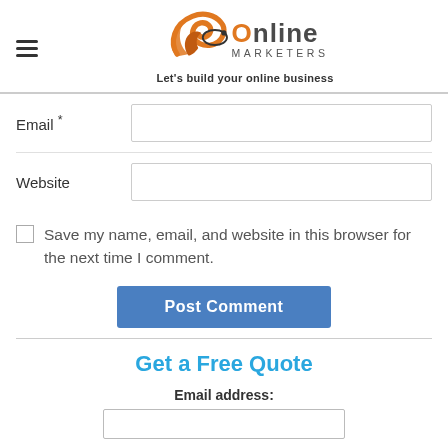[Figure (logo): JC Online Marketers logo with orange swoosh symbol, 'Online' and 'MARKETERS' text, tagline 'Let's build your online business']
Email *
Website
Save my name, email, and website in this browser for the next time I comment.
Post Comment
Get a Free Quote
Email address: